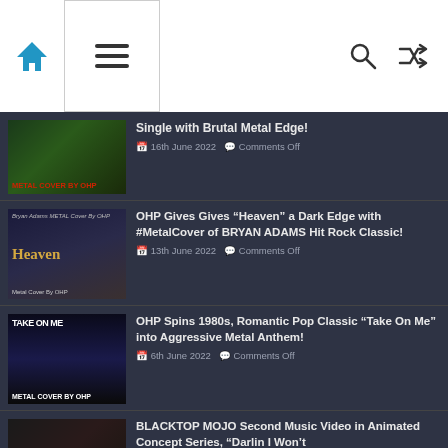Navigation header with home icon, menu icon, search icon, and shuffle icon
Single with Brutal Metal Edge!
16th June 2022   Comments Off
OHP Gives Gives “Heaven” a Dark Edge with #MetalCover of BRYAN ADAMS Hit Rock Classic!
13th June 2022   Comments Off
OHP Spins 1980s, Romantic Pop Classic “Take On Me” into Aggressive Metal Anthem!
6th June 2022   Comments Off
BLACKTOP MOJO Second Music Video in Animated Concept Series, “Darlin I Won’t